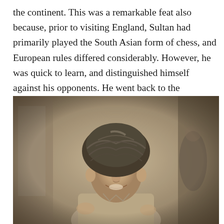the continent. This was a remarkable feat also because, prior to visiting England, Sultan had primarily played the South Asian form of chess, and European rules differed considerably. However, he was quick to learn, and distinguished himself against his opponents. He went back to the Subcontinent in November 1929, before returning to Europe in May 1930.
[Figure (photo): Black and white historical photograph of a man wearing a turban, smiling, dressed in a suit, with other people visible in the background.]